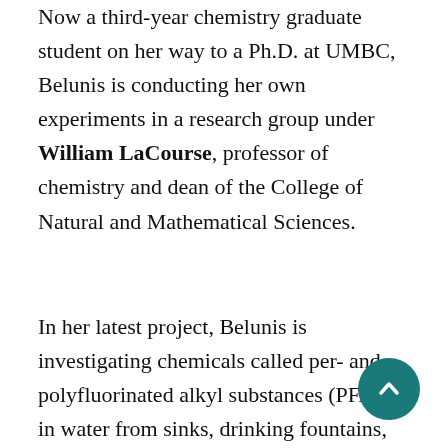Now a third-year chemistry graduate student on her way to a Ph.D. at UMBC, Belunis is conducting her own experiments in a research group under William LaCourse, professor of chemistry and dean of the College of Natural and Mathematical Sciences.
In her latest project, Belunis is investigating chemicals called per- and polyfluorinated alkyl substances (PFAS) in water from sinks, drinking fountains, and outdoor sources. While PFAS, often found in household surfaces like nonstick cookware, might not be as noticeable as dr... they are much more prevalent in our environment and can cause toxicity such as liver damage and